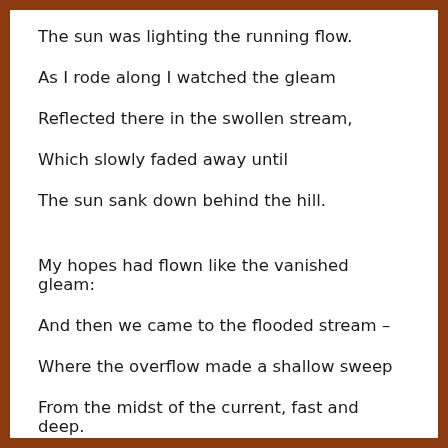The sun was lighting the running flow.
As I rode along I watched the gleam
Reflected there in the swollen stream,
Which slowly faded away until
The sun sank down behind the hill.
My hopes had flown like the vanished gleam:
And then we came to the flooded stream –
Where the overflow made a shallow sweep
From the midst of the current, fast and deep.